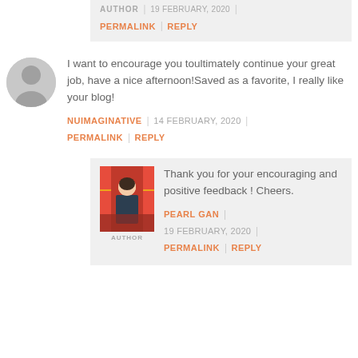AUTHOR  |  19 FEBRUARY, 2020  |
PERMALINK  |  REPLY
I want to encourage you toultimately continue your great job, have a nice afternoon!Saved as a favorite, I really like your blog!
NUIMAGINATIVE  |  14 FEBRUARY, 2020  |
PERMALINK  |  REPLY
Thank you for your encouraging and positive feedback ! Cheers.
PEARL GAN  |  19 FEBRUARY, 2020  |
PERMALINK  |  REPLY